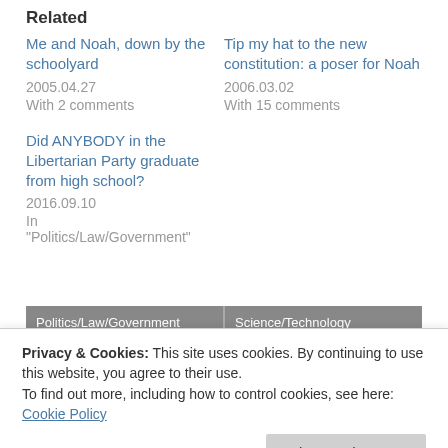Related
Me and Noah, down by the schoolyard
2005.04.27
With 2 comments
Tip my hat to the new constitution: a poser for Noah
2006.03.02
With 15 comments
Did ANYBODY in the Libertarian Party graduate from high school?
2016.09.10
In "Politics/Law/Government"
Politics/Law/Government   Science/Technology
Privacy & Cookies: This site uses cookies. By continuing to use this website, you agree to their use.
To find out more, including how to control cookies, see here: Cookie Policy
Close and accept
Kenneth O'Brien   2014.07.10 5:41 am